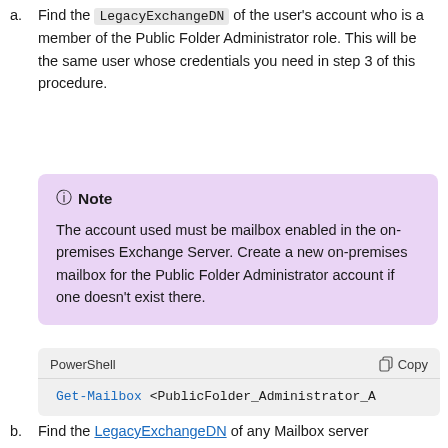a. Find the LegacyExchangeDN of the user's account who is a member of the Public Folder Administrator role. This will be the same user whose credentials you need in step 3 of this procedure.
Note: The account used must be mailbox enabled in the on-premises Exchange Server. Create a new on-premises mailbox for the Public Folder Administrator account if one doesn't exist there.
PowerShell  Copy
Get-Mailbox <PublicFolder_Administrator_A
b. Find the LegacyExchangeDN of any Mailbox server...